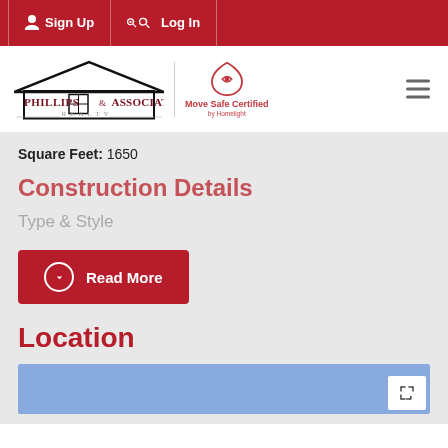Sign Up | Log In
[Figure (logo): Phillips & Associates Realty logo with house icon, and Move Safe Certified by Homelight badge]
Square Feet: 1650
Construction Details
Type & Style
Read More
Location
[Figure (map): Map area showing location, with expand/fullscreen button in bottom right corner]